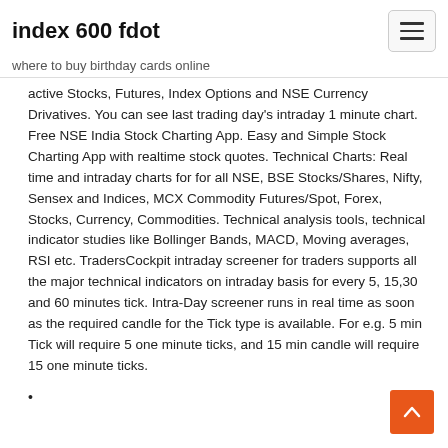index 600 fdot
where to buy birthday cards online
active Stocks, Futures, Index Options and NSE Currency Drivatives. You can see last trading day's intraday 1 minute chart. Free NSE India Stock Charting App. Easy and Simple Stock Charting App with realtime stock quotes. Technical Charts: Real time and intraday charts for for all NSE, BSE Stocks/Shares, Nifty, Sensex and Indices, MCX Commodity Futures/Spot, Forex, Stocks, Currency, Commodities. Technical analysis tools, technical indicator studies like Bollinger Bands, MACD, Moving averages, RSI etc. TradersCockpit intraday screener for traders supports all the major technical indicators on intraday basis for every 5, 15,30 and 60 minutes tick. Intra-Day screener runs in real time as soon as the required candle for the Tick type is available. For e.g. 5 min Tick will require 5 one minute ticks, and 15 min candle will require 15 one minute ticks.